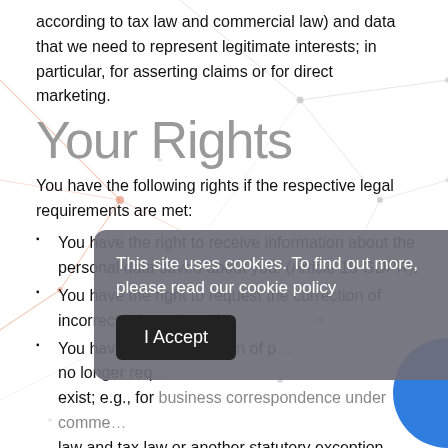according to tax law and commercial law) and data that we need to represent legitimate interests; in particular, for asserting claims or for direct marketing.
Your Rights
You have the following rights if the respective legal requirements are met:
You have the right to receive information about the personal data saved about you. (Article 15 GDPR).
You have the right to request the correction of incorrect information (A…
You have the… restriction of p… no longer req… exist; e.g., for business correspondence under comme… law and tax law or another statutory exception, data will not
This site uses cookies. To find out more, please read our cookie policy
I Accept